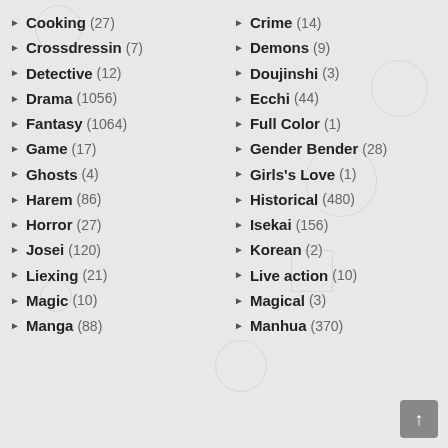Cooking (27)
Crossdressin (7)
Detective (12)
Drama (1056)
Fantasy (1064)
Game (17)
Ghosts (4)
Harem (86)
Horror (27)
Josei (120)
Liexing (21)
Magic (10)
Manga (88)
Crime (14)
Demons (9)
Doujinshi (3)
Ecchi (44)
Full Color (1)
Gender Bender (28)
Girls's Love (1)
Historical (480)
Isekai (156)
Korean (2)
Live action (10)
Magical (3)
Manhua (370)